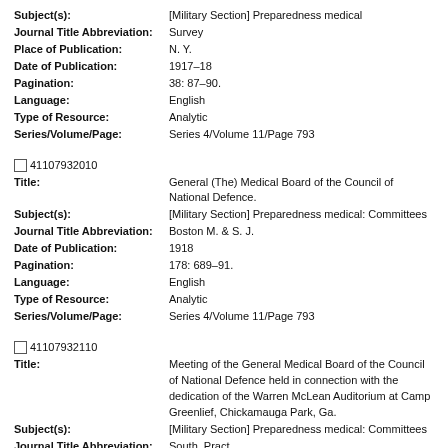Subject(s): [Military Section] Preparedness medical
Journal Title Abbreviation: Survey
Place of Publication: N. Y.
Date of Publication: 1917-18
Pagination: 38: 87-90.
Language: English
Type of Resource: Analytic
Series/Volume/Page: Series 4/Volume 11/Page 793
41107932010
Title: General (The) Medical Board of the Council of National Defence.
Subject(s): [Military Section] Preparedness medical: Committees
Journal Title Abbreviation: Boston M. & S. J.
Date of Publication: 1918
Pagination: 178: 689-91.
Language: English
Type of Resource: Analytic
Series/Volume/Page: Series 4/Volume 11/Page 793
41107932110
Title: Meeting of the General Medical Board of the Council of National Defence held in connection with the dedication of the Warren McLean Auditorium at Camp Greenlief, Chickamauga Park, Ga.
Subject(s): [Military Section] Preparedness medical: Committees
Journal Title Abbreviation: South. Pract.
Date of Publication: 1918
Pagination: 40: 127-37.
Language: English